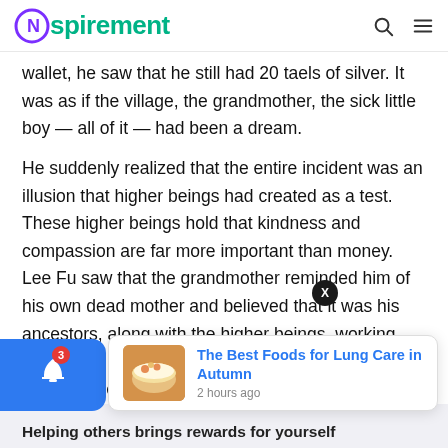Nspirement
wallet, he saw that he still had 20 taels of silver. It was as if the village, the grandmother, the sick little boy — all of it — had been a dream.
He suddenly realized that the entire incident was an illusion that higher beings had created as a test. These higher beings hold that kindness and compassion are far more important than money. Lee Fu saw that the grandmother reminded him of his own dead mother and believed that it was his ancestors, along with the higher beings, working together to test him and to rew…ency.
Helping others brings rewards for yourself